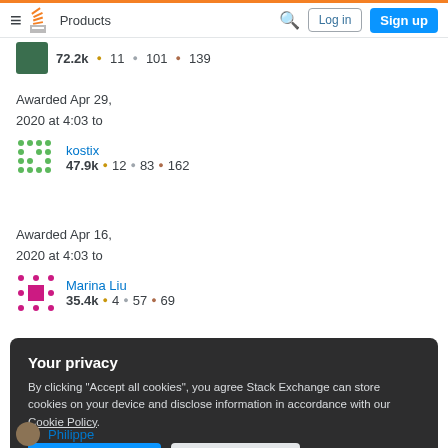Stack Overflow — Products | Log in | Sign up
72.2k • 11 • 101 • 139
Awarded Apr 29, 2020 at 4:03 to
kostix
47.9k • 12 • 83 • 162
Awarded Apr 16, 2020 at 4:03 to
Marina Liu
35.4k • 4 • 57 • 69
Your privacy

By clicking "Accept all cookies", you agree Stack Exchange can store cookies on your device and disclose information in accordance with our Cookie Policy.

[Accept all cookies] [Customize settings]
Philippe